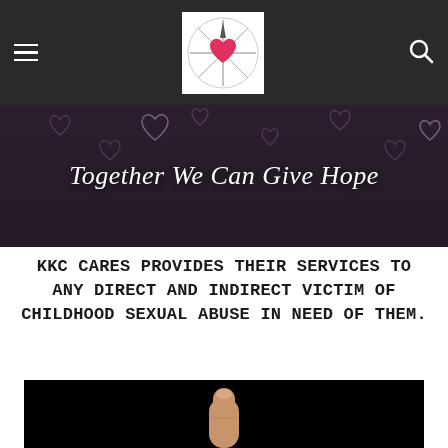KKC Cares — navigation bar with logo and search icon
[Figure (photo): Hero banner with bokeh heart lights background and italic white text 'Together We Can Give Hope']
Together We Can Give Hope
KKC Cares provides their services to any direct and indirect victim of childhood sexual abuse in need of them.
[Figure (photo): Black background photo showing a single finger pointing upward]